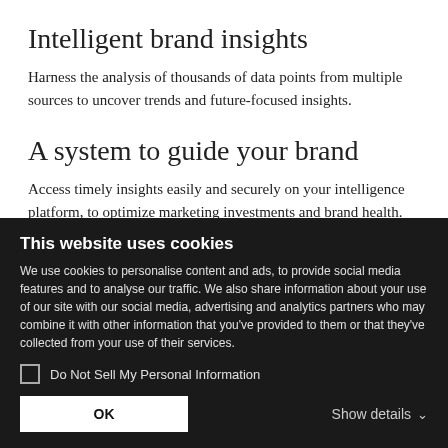Intelligent brand insights
Harness the analysis of thousands of data points from multiple sources to uncover trends and future-focused insights.
A system to guide your brand
Access timely insights easily and securely on your intelligence platform, to optimize marketing investments and brand health.
This website uses cookies
We use cookies to personalise content and ads, to provide social media features and to analyse our traffic. We also share information about your use of our site with our social media, advertising and analytics partners who may combine it with other information that you've provided to them or that they've collected from your use of their services.
Do Not Sell My Personal Information
OK
Show details